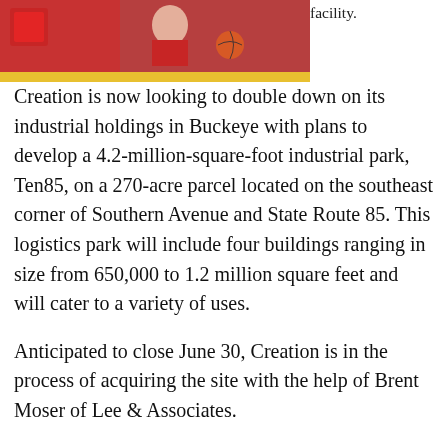[Figure (photo): Partial photo of a person in athletic/cheerleader outfit at a sports event, with a red and yellow brand bar below it]
facility.
Creation is now looking to double down on its industrial holdings in Buckeye with plans to develop a 4.2-million-square-foot industrial park, Ten85, on a 270-acre parcel located on the southeast corner of Southern Avenue and State Route 85. This logistics park will include four buildings ranging in size from 650,000 to 1.2 million square feet and will cater to a variety of uses.
Anticipated to close June 30, Creation is in the process of acquiring the site with the help of Brent Moser of Lee & Associates.
“The fact that leading companies like KORE Power, Five Below, Funko and Ross Stores Inc. are all establishing their operations in Buckeye is a huge testament not only to the city’s premier gateway